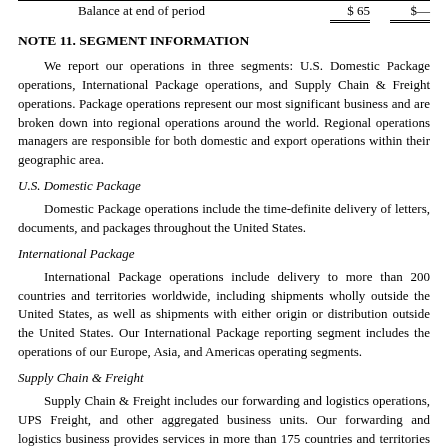|  | Col1 | Col2 |
| --- | --- | --- |
| Balance at end of period | $ 65 | $— |
NOTE 11. SEGMENT INFORMATION
We report our operations in three segments: U.S. Domestic Package operations, International Package operations, and Supply Chain & Freight operations. Package operations represent our most significant business and are broken down into regional operations around the world. Regional operations managers are responsible for both domestic and export operations within their geographic area.
U.S. Domestic Package
Domestic Package operations include the time-definite delivery of letters, documents, and packages throughout the United States.
International Package
International Package operations include delivery to more than 200 countries and territories worldwide, including shipments wholly outside the United States, as well as shipments with either origin or distribution outside the United States. Our International Package reporting segment includes the operations of our Europe, Asia, and Americas operating segments.
Supply Chain & Freight
Supply Chain & Freight includes our forwarding and logistics operations, UPS Freight, and other aggregated business units. Our forwarding and logistics business provides services in more than 175 countries and territories worldwide, and includes supply chain design and management, freight distribution, customs brokerage, mail and consulting services. UPS Freight offers a variety of less-than-